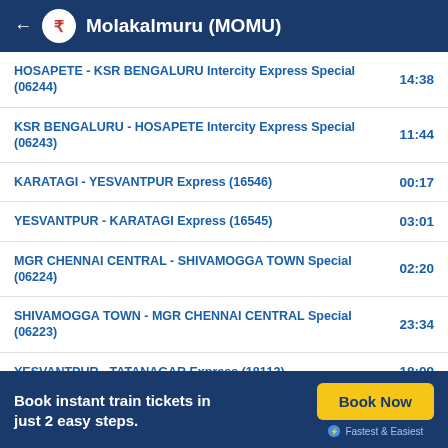Molakalmuru (MOMU)
| Train Name | Time |
| --- | --- |
| HOSAPETE - KSR BENGALURU Intercity Express Special (06244) | 14:38 |
| KSR BENGALURU - HOSAPETE Intercity Express Special (06243) | 11:44 |
| KARATAGI - YESVANTPUR Express (16546) | 00:17 |
| YESVANTPUR - KARATAGI Express (16545) | 03:01 |
| MGR CHENNAI CENTRAL - SHIVAMOGGA TOWN Special (06224) | 02:20 |
| SHIVAMOGGA TOWN - MGR CHENNAI CENTRAL Special (06223) | 23:34 |
| YESVANTPUR - TATANAGAR Express (18112) | 18:09 |
View more
Book instant train tickets in just 2 easy steps.
Book Now
Fastest & Easiest